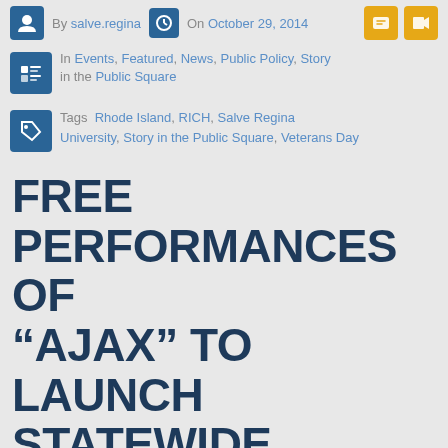By salve.regina  On October 29, 2014
In Events, Featured, News, Public Policy, Story in the Public Square
Tags Rhode Island, RICH, Salve Regina University, Story in the Public Square, Veterans Day
FREE PERFORMANCES OF “AJAX” TO LAUNCH STATEWIDE CONVERSATION ABOUT VETERANS